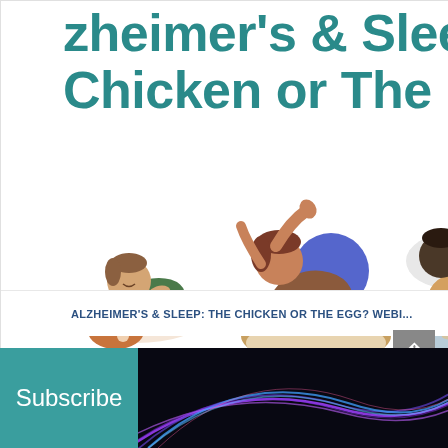Alzheimer's & Sleep: The Chicken or The Egg?
[Figure (illustration): Three cartoon illustrations of people sleeping in different positions in bed]
ALZHEIMER'S & SLEEP: THE CHICKEN OR THE EGG? WEBI...
Subscribe